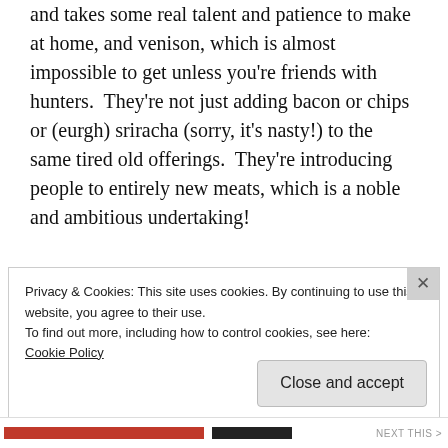and takes some real talent and patience to make at home, and venison, which is almost impossible to get unless you're friends with hunters.  They're not just adding bacon or chips or (eurgh) sriracha (sorry, it's nasty!) to the same tired old offerings.  They're introducing people to entirely new meats, which is a noble and ambitious undertaking!
So yesterday, my best friend sent me this entertaining and insightful essay about the
Privacy & Cookies: This site uses cookies. By continuing to use this website, you agree to their use.
To find out more, including how to control cookies, see here:
Cookie Policy